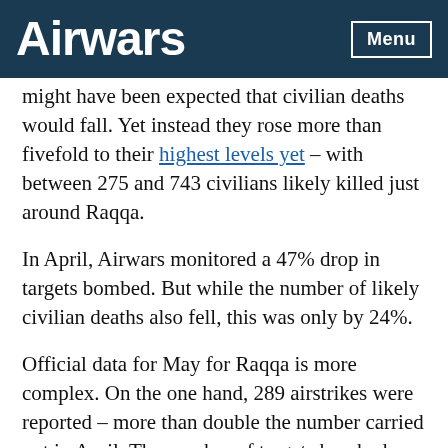Airwars   Menu
might have been expected that civilian deaths would fall. Yet instead they rose more than fivefold to their highest levels yet – with between 275 and 743 civilians likely killed just around Raqqa.
In April, Airwars monitored a 47% drop in targets bombed. But while the number of likely civilian deaths also fell, this was only by 24%.
Official data for May for Raqqa is more complex. On the one hand, 289 airstrikes were reported – more than double the number carried out in April. The number of targets bombed – a far more accurate metric than strikes – tripled to 591. As already noted, likely civilian deaths around Raqqa